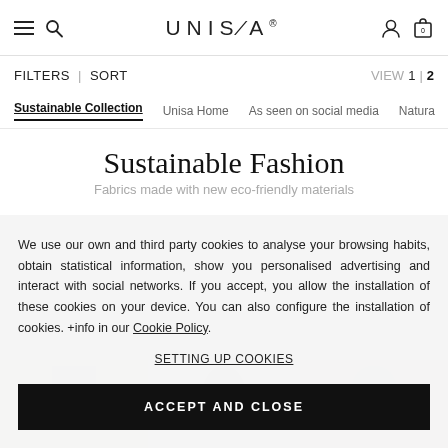UNISA
FILTERS | SORT VIEW 1 | 2
Sustainable Collection | Unisa Home | As seen on social media | Natural
Sustainable Fashion
Fabrics made with new eco-friendly materials
We use our own and third party cookies to analyse your browsing habits, obtain statistical information, show you personalised advertising and interact with social networks. If you accept, you allow the installation of these cookies on your device. You can also configure the installation of cookies. +info in our Cookie Policy.
SETTING UP COOKIES
ACCEPT AND CLOSE